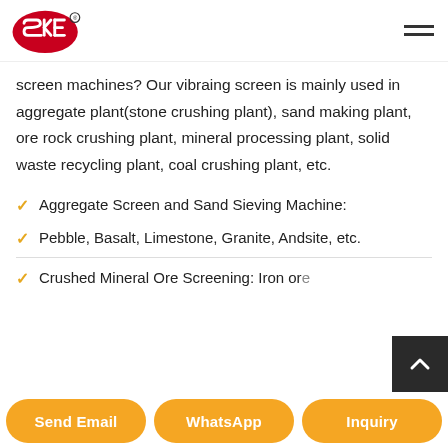SKE logo and navigation menu
screen machines? Our vibraing screen is mainly used in aggregate plant(stone crushing plant), sand making plant, ore rock crushing plant, mineral processing plant, solid waste recycling plant, coal crushing plant, etc.
Aggregate Screen and Sand Sieving Machine:
Pebble, Basalt, Limestone, Granite, Andsite, etc.
Crushed Mineral Ore Screening: Iron ore
Manganese Ore, etc.
Send Email | WhatsApp | Inquiry